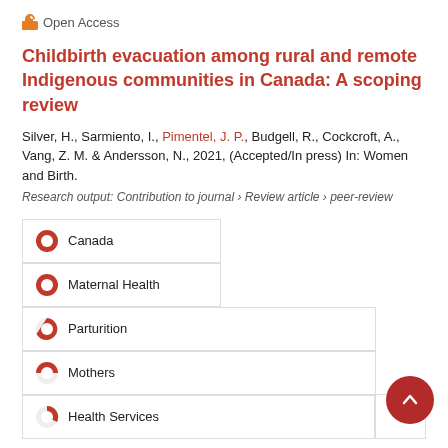Open Access
Childbirth evacuation among rural and remote Indigenous communities in Canada: A scoping review
Silver, H., Sarmiento, I., Pimentel, J. P., Budgell, R., Cockcroft, A., Vang, Z. M. & Andersson, N., 2021, (Accepted/In press) In: Women and Birth.
Research output: Contribution to journal › Review article › peer-review
| Canada | Maternal Health |
| Parturition | Mothers |
| Health Services |  |
Clinical studies assessing the efficacy, effectiveness and safety of remdesivir in management of COVID-19: A scoping review